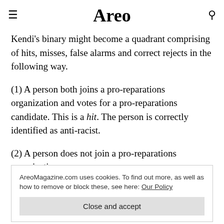Areo
Kendi's binary might become a quadrant comprising of hits, misses, false alarms and correct rejects in the following way.
(1) A person both joins a pro-reparations organization and votes for a pro-reparations candidate. This is a hit. The person is correctly identified as anti-racist.
(2) A person does not join a pro-reparations organization
AreoMagazine.com uses cookies. To find out more, as well as how to remove or block these, see here: Our Policy
Close and accept